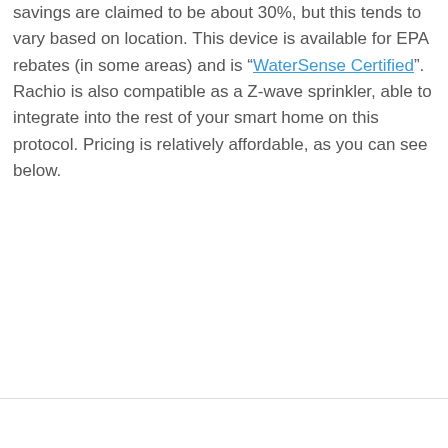savings are claimed to be about 30%, but this tends to vary based on location. This device is available for EPA rebates (in some areas) and is “WaterSense Certified”. Rachio is also compatible as a Z-wave sprinkler, able to integrate into the rest of your smart home on this protocol. Pricing is relatively affordable, as you can see below.